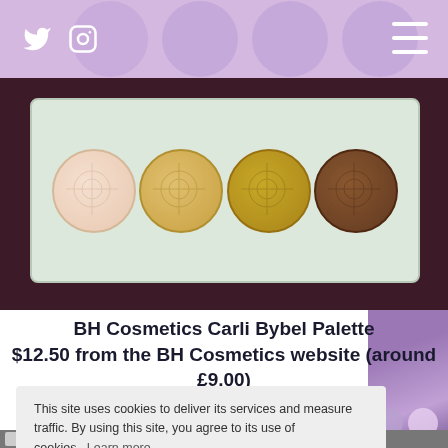Twitter | Instagram | Menu
[Figure (photo): BH Cosmetics Carli Bybel Palette with four circular pressed powder pans (light to dark) in a light green compact case on dark purple background]
BH Cosmetics Carli Bybel Palette
$12.50 from the BH Cosmetics website (around £9.00)
This site uses cookies to deliver its services and measure traffic. By using this site, you agree to its use of cookies. Learn more
Got it!
[Figure (photo): Partial view of an eyeshadow palette with purple/lavender tones visible on the right side]
[Figure (photo): Partial view of the bottom of a makeup palette]